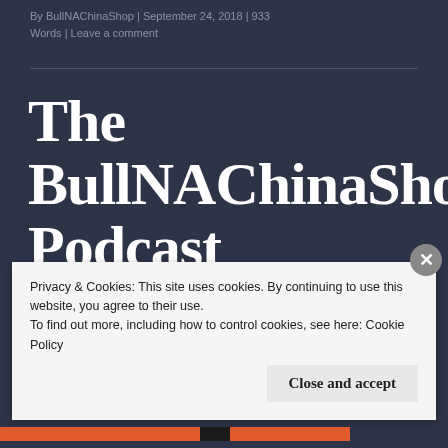By BullNAChinaShop | September 24, 2018 | 933 Words | Leave a comment
The BullNAChinaShop Podcast Episode 7: The American Bully
Privacy & Cookies: This site uses cookies. By continuing to use this website, you agree to their use.
To find out more, including how to control cookies, see here: Cookie Policy

Close and accept